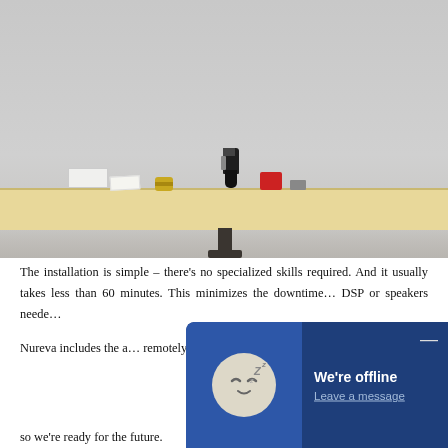[Figure (photo): A photo showing a light wood desk surface with tools including a drill, tape measure, and red item on top. The desk has a black metal leg. The background is a light gray wall.]
The installation is simple – there's no specialized skills required. And it usually takes less than 60 minutes. This minimizes the downtime… DSP or speakers needed…
Nureva includes the a… remotely from a secura… upgrades mean the tec… so we're ready for the future.
[Figure (screenshot): A chat widget overlay showing an offline sleeping face icon with Zzz, text saying 'We're offline' and a 'Leave a message' link, on a dark blue background.]